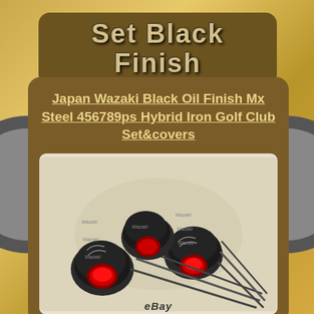Set Black Finish
Japan Wazaki Black Oil Finish Mx Steel 456789ps Hybrid Iron Golf Club Set&covers
[Figure (photo): Photo of Japan Wazaki black oil finish hybrid iron golf club set with head covers, multiple clubs shown with dark metallic finish and red accents]
eBay